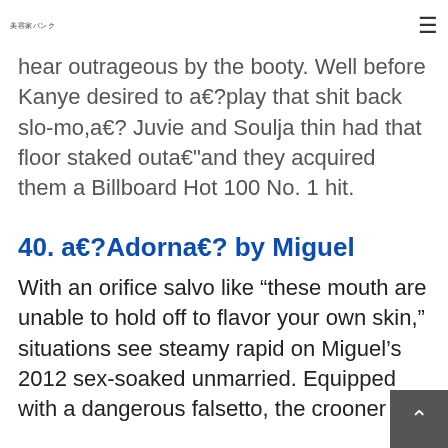美容家パンク
hear outrageous by the booty. Well before Kanye desired to a€?play that shit back slo-mo,a€? Juvie and Soulja thin had that floor staked outa€"and they acquired them a Billboard Hot 100 No. 1 hit.
40. a€?Adorna€? by Miguel
With an orifice salvo like “these mouth are unable to hold off to flavor your own skin,” situations see steamy rapid on Miguel’s 2012 sex-soaked unmarried. Equipped with a dangerous falsetto, the crooner